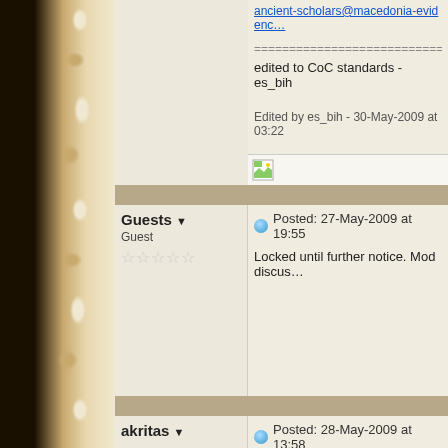ancient-scholars@macedonia-evidenc…
================================
edited to CoC standards - es_bih
Edited by es_bih - 30-May-2009 at 03:22
Guests ▼
Guest
☆☆☆☆☆
Posted: 27-May-2009 at 19:55
Locked until further notice. Mod discus…
akritas ▼
Posted: 28-May-2009 at 13:58